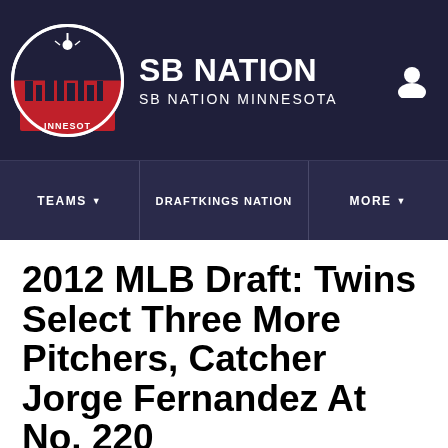SB NATION | SB NATION MINNESOTA
2012 MLB Draft: Twins Select Three More Pitchers, Catcher Jorge Fernandez At No. 220
By Dave Ryan | Jun 5, 2012, 4:15pm CDT